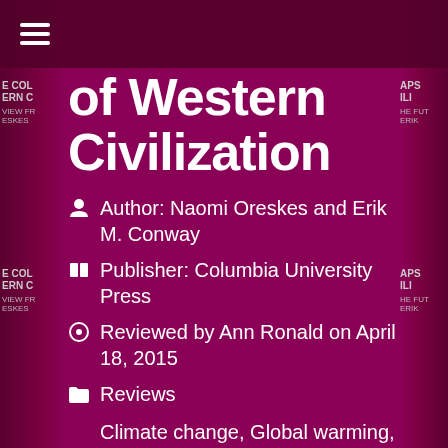☰ (hamburger menu)
of Western Civilization
Author: Naomi Oreskes and Erik M. Conway
Publisher: Columbia University Press
Reviewed by Ann Ronald on April 18, 2015
Reviews
Climate change, Global warming, Market fundamentalism, Merchants of Doubt: How a Handful of